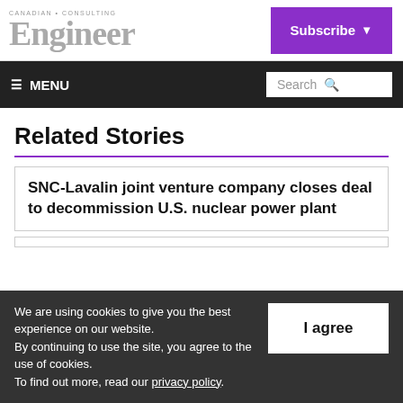Canadian Consulting Engineer
Related Stories
SNC-Lavalin joint venture company closes deal to decommission U.S. nuclear power plant
We are using cookies to give you the best experience on our website. By continuing to use the site, you agree to the use of cookies. To find out more, read our privacy policy.